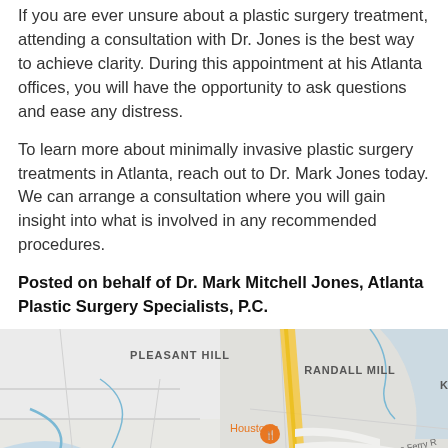If you are ever unsure about a plastic surgery treatment, attending a consultation with Dr. Jones is the best way to achieve clarity. During this appointment at his Atlanta offices, you will have the opportunity to ask questions and ease any distress.
To learn more about minimally invasive plastic surgery treatments in Atlanta, reach out to Dr. Mark Jones today. We can arrange a consultation where you will gain insight into what is involved in any recommended procedures.
Posted on behalf of Dr. Mark Mitchell Jones, Atlanta Plastic Surgery Specialists, P.C.
[Figure (map): Google Maps screenshot showing the Atlanta area with neighborhoods Pleasant Hill and Randall Mill labeled, a yellow highway corridor, and orange markers for Houston's restaurant and OK Cafe near W Paces Ferry Road. A reCAPTCHA widget is visible in the lower right corner.]